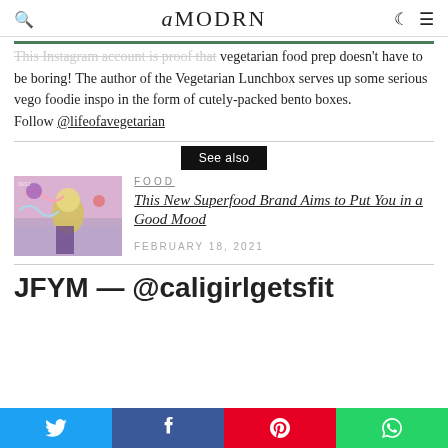AMODRN
This Instagram account is proof that vegetarian food prep doesn't have to be boring! The author of the Vegetarian Lunchbox serves up some serious vego foodie inspo in the form of cutely-packed bento boxes. Follow @lifeofavegetarian
See also
[Figure (photo): Colorful illustration of an astronaut figure with space-themed packaging, pink and purple tones]
FOOD
This New Superfood Brand Aims to Put You in a Good Mood
February 18, 2021
JFYM — @caligirlgetsfit